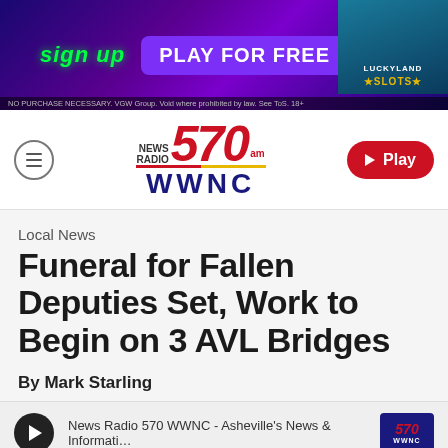[Figure (screenshot): Advertisement banner for LuckyLand Slots: 'sign up PLAY FOR FREE' with green and purple colors, LuckyLand Slots branding on right, legal text at bottom.]
[Figure (logo): News Radio 570 AM WWNC logo with red 570 numeral, lightning bolt underline, and dark blue WWNC text.]
Local News
Funeral for Fallen Deputies Set, Work to Begin on 3 AVL Bridges
By Mark Starling
News Radio 570 WWNC - Asheville's News & Informati…